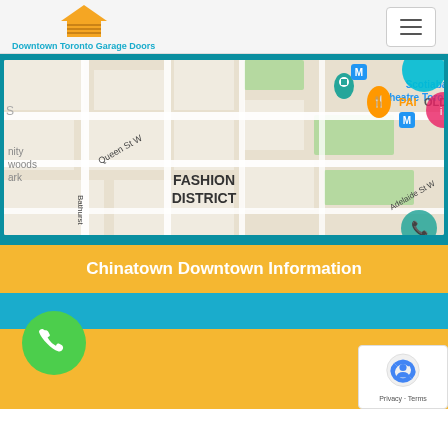[Figure (logo): Downtown Toronto Garage Doors logo with orange/yellow garage door house icon and teal text]
[Figure (map): Google Maps screenshot showing downtown Toronto area including Fashion District, Scotiabank Theatre Toronto, Queen St W, Adelaide St W, Bathurst St]
Chinatown Downtown Information
[Figure (other): Green phone/call button circle icon]
[Figure (other): reCAPTCHA badge with Privacy and Terms links]